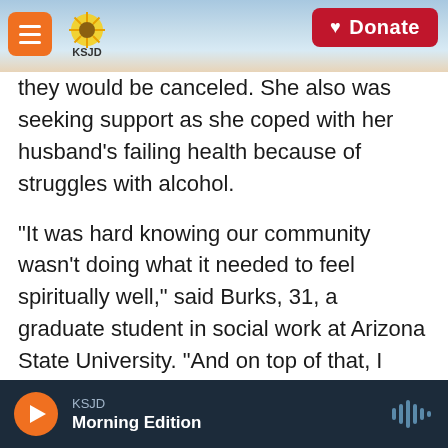KSJD — Donate
they would be canceled. She also was seeking support as she coped with her husband's failing health because of struggles with alcohol.
“It was hard knowing our community wasn’t doing what it needed to feel spiritually well,” said Burks, 31, a graduate student in social work at Arizona State University. “And on top of that, I wasn’t well.”
And so when ASU and the Phoenix nonprofit clinic Native Health started a virtual talking circle series last June, Burks quickly became one of its regulars, finding solace in a space where she could be vulnerable with other Indigenous students in a
KSJD
Morning Edition